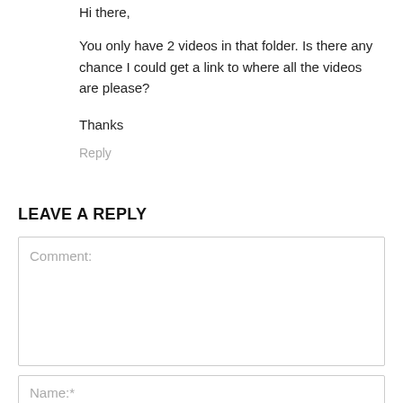Hi there,
You only have 2 videos in that folder. Is there any chance I could get a link to where all the videos are please?
Thanks
Reply
LEAVE A REPLY
Comment:
Name:*